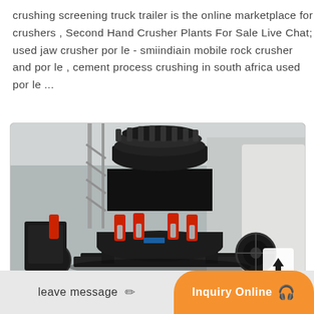crushing screening truck trailer is the online marketplace for crushers , Second Hand Crusher Plants For Sale Live Chat; used jaw crusher por le - smiindiain mobile rock crusher and por le , cement process crushing in south africa used por le ...
[Figure (photo): Industrial cone crusher machine photographed in a factory/warehouse setting. The machine is large, predominantly black with red hydraulic cylinders, mounted on a steel frame. The background shows structural steel columns and a high-bay industrial building interior.]